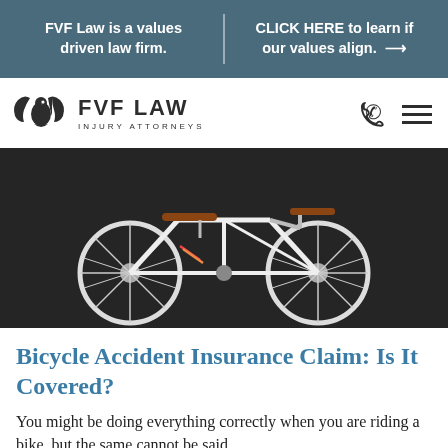FVF Law is a values driven law firm. | CLICK HERE to learn if our values align. →
[Figure (logo): FVF Law Injury Attorneys logo with eagle/wing emblem]
[Figure (photo): A white road bicycle photographed against a dark background]
Bicycle Accident Insurance Claim: Is It Covered?
You might be doing everything correctly when you are riding a bike, but the same cannot be said